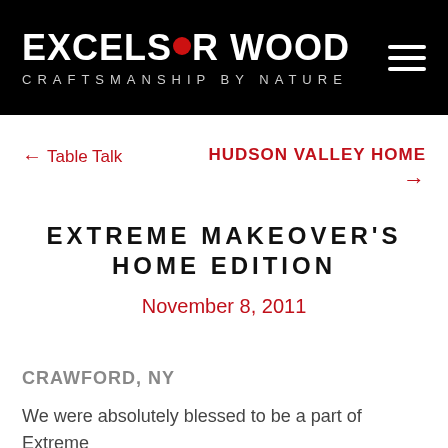EXCELSIOR WOOD — CRAFTSMANSHIP BY NATURE
← Table Talk
HUDSON VALLEY HOME →
EXTREME MAKEOVER'S HOME EDITION
November 8, 2011
CRAWFORD, NY
We were absolutely blessed to be a part of Extreme